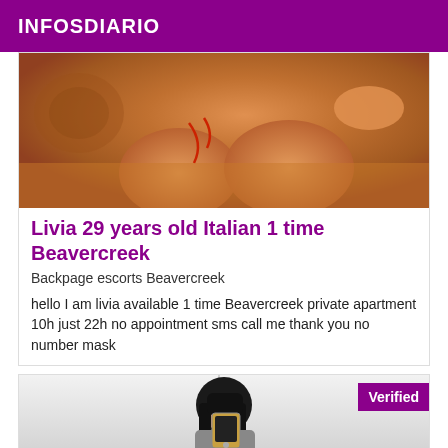INFOSDIARIO
[Figure (photo): Close-up photo of a person's legs on a bed with decorative background]
Livia 29 years old Italian 1 time Beavercreek
Backpage escorts Beavercreek
hello I am livia available 1 time Beavercreek private apartment 10h just 22h no appointment sms call me thank you no number mask
[Figure (photo): Person taking a mirror selfie with a smartphone, with a purple Verified badge in the top right corner]